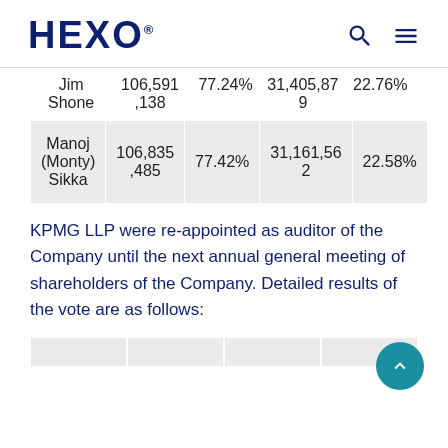HEXO
|  |  |  |  |  |
| --- | --- | --- | --- | --- |
| Jim Shone | 106,591,138 | 77.24% | 31,405,879 | 22.76% |
| Manoj (Monty) Sikka | 106,835,485 | 77.42% | 31,161,562 | 22.58% |
KPMG LLP were re-appointed as auditor of the Company until the next annual general meeting of shareholders of the Company. Detailed results of the vote are as follows: